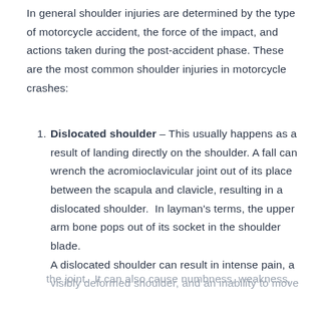In general shoulder injuries are determined by the type of motorcycle accident, the force of the impact, and actions taken during the post-accident phase. These are the most common shoulder injuries in motorcycle crashes:
Dislocated shoulder – This usually happens as a result of landing directly on the shoulder. A fall can wrench the acromioclavicular joint out of its place between the scapula and clavicle, resulting in a dislocated shoulder. In layman's terms, the upper arm bone pops out of its socket in the shoulder blade. A dislocated shoulder can result in intense pain, a visibly deformed shoulder, and an inability to move the joint. It can also cause numbness, weakness,